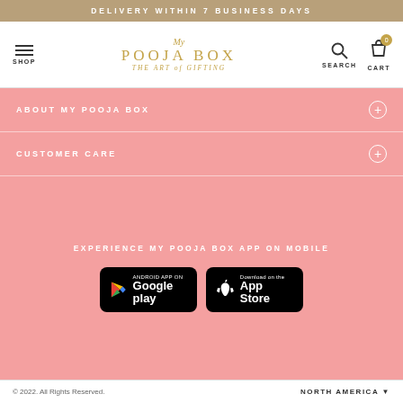DELIVERY WITHIN 7 BUSINESS DAYS
[Figure (logo): My Pooja Box logo with tagline 'THE ART of GIFTING']
ABOUT MY POOJA BOX
CUSTOMER CARE
EXPERIENCE MY POOJA BOX APP ON MOBILE
[Figure (other): Google Play and App Store download buttons]
© 2022. All Rights Reserved.   NORTH AMERICA ▼